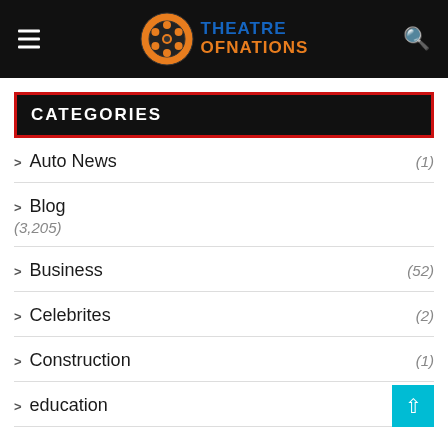THEATRE OF NATIONS
CATEGORIES
Auto News (1)
Blog (3,205)
Business (52)
Celebrites (2)
Construction (1)
education